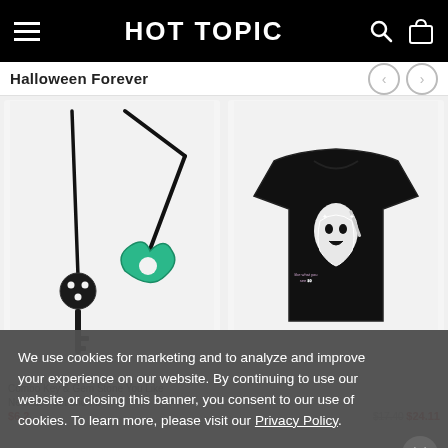HOT TOPIC
Halloween Forever
[Figure (photo): Two necklaces on a light gray background: a black key pendant on a black cord and a green marbled triangular heart pendant on a black cord]
[Figure (photo): Black t-shirt with Ghostface (Scream) graphic design showing the masked figure holding a knife, on a light gray background]
Combo Key & Gem Stone You Like Necklace Set and Fit
$6.2 $17.40 $24.11
We use cookies for marketing and to analyze and improve your experience on our website. By continuing to use our website or closing this banner, you consent to our use of cookies. To learn more, please visit our Privacy Policy.